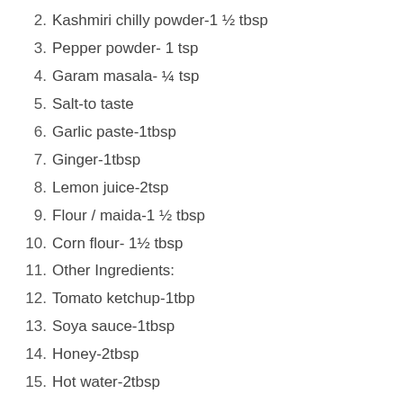2. Kashmiri chilly powder-1 ½ tbsp
3. Pepper powder- 1 tsp
4. Garam masala- ¼ tsp
5. Salt-to taste
6. Garlic paste-1tbsp
7. Ginger-1tbsp
8. Lemon juice-2tsp
9. Flour / maida-1 ½ tbsp
10. Corn flour- 1½ tbsp
11. Other Ingredients:
12. Tomato ketchup-1tbp
13. Soya sauce-1tbsp
14. Honey-2tbsp
15. Hot water-2tbsp
16. Capsicum chopped-1small
17. Sesame seeds-1tbsp